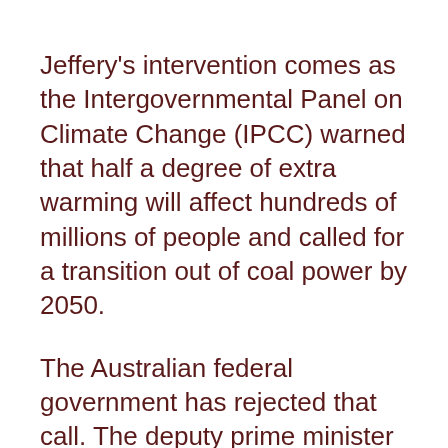Jeffery's intervention comes as the Intergovernmental Panel on Climate Change (IPCC) warned that half a degree of extra warming will affect hundreds of millions of people and called for a transition out of coal power by 2050.
The Australian federal government has rejected that call. The deputy prime minister and leader of the National party, Michael McCormack, has said Australia should continue to exploit its coal reserves as his farmer-based constituency suffers through a drought